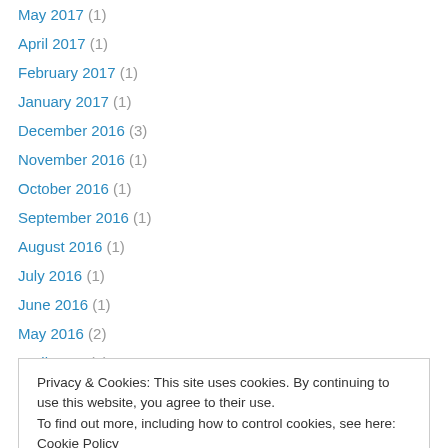May 2017 (1)
April 2017 (1)
February 2017 (1)
January 2017 (1)
December 2016 (3)
November 2016 (1)
October 2016 (1)
September 2016 (1)
August 2016 (1)
July 2016 (1)
June 2016 (1)
May 2016 (2)
April 2016 (1)
Privacy & Cookies: This site uses cookies. By continuing to use this website, you agree to their use. To find out more, including how to control cookies, see here: Cookie Policy
September 2015 (2)